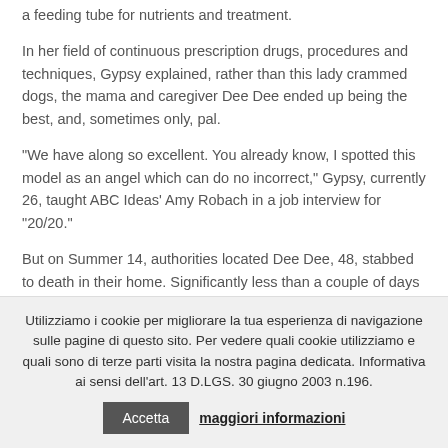a feeding tube for nutrients and treatment. In her field of continuous prescription drugs, procedures and techniques, Gypsy explained, rather than this lady crammed dogs, the mama and caregiver Dee Dee ended up being the best, and, sometimes only, pal. “We have along so excellent. You already know, I spotted this model as an angel which can do no incorrect,” Gypsy, currently 26, taught ABC Ideas’ Amy Robach in a job interview for “20/20.” But on Summer 14, authorities located Dee Dee, 48, stabbed to death in their home. Significantly less than a couple of days later, Gypsy and her on-line date were imprisoned on her
Utilizziamo i cookie per migliorare la tua esperienza di navigazione sulle pagine di questo sito. Per vedere quali cookie utilizziamo e quali sono di terze parti visita la nostra pagina dedicata. Informativa ai sensi dell’art. 13 D.LGS. 30 giugno 2003 n.196. Accetta maggiori informazioni